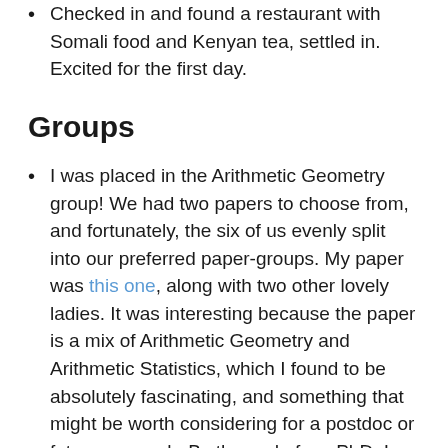Checked in and found a restaurant with Somali food and Kenyan tea, settled in. Excited for the first day.
Groups
I was placed in the Arithmetic Geometry group! We had two papers to choose from, and fortunately, the six of us evenly split into our preferred paper-groups. My paper was this one, along with two other lovely ladies. It was interesting because the paper is a mix of Arithmetic Geometry and Arithmetic Statistics, which I found to be absolutely fascinating, and something that might be worth considering for a postdoc or future research. By the end of my PhD, I should pretty much have some of the kind of background to engage with the field, but we'll see. Everyone in the conference was incredibly